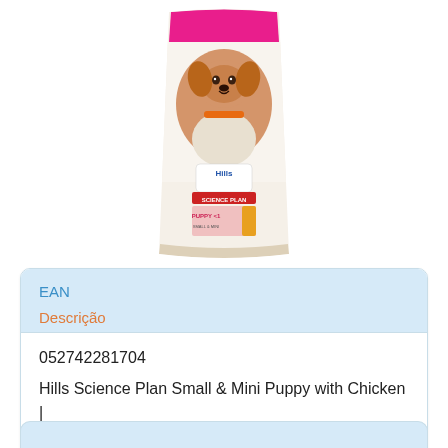[Figure (photo): Hill's Science Plan Small & Mini Puppy with Chicken dog food bag (1.5 kg), showing a puppy on the packaging with pink/orange label]
| EAN | Descrição |
| --- | --- |
| 052742281704 | Hills Science Plan Small & Mini Puppy with Chicken | 1,5 kg |